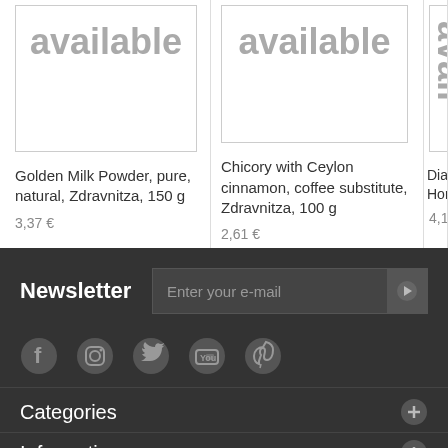[Figure (photo): Product image placeholder with text 'available' for Golden Milk Powder]
Golden Milk Powder, pure, natural, Zdravnitza, 150 g
3,37 €
[Figure (photo): Product image placeholder with text 'available' for Chicory with Ceylon cinnamon]
Chicory with Ceylon cinnamon, coffee substitute, Zdravnitza, 100 g
2,61 €
[Figure (photo): Partial product image placeholder with text 'available' (cropped)]
Dia Hor
4,19
Newsletter
Enter your e-mail
[Figure (illustration): Social media icons: Facebook, Instagram, Twitter, YouTube, Pinterest]
Categories
Information